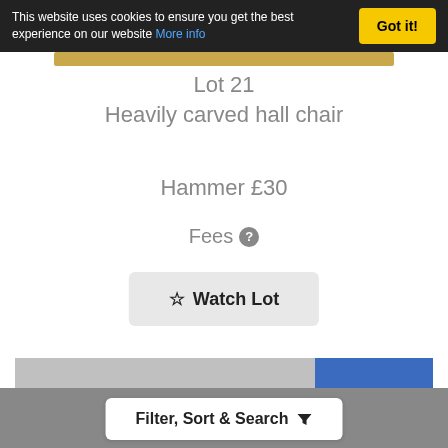This website uses cookies to ensure you get the best experience on our website More info  Got it!
Lot 21
Heavily carved hall chair
Hammer £30
Fees ?
☆ Watch Lot
[Figure (photo): A brass plate or tray photographed from above at a slight angle, shown against a grey background with a blue panel visible behind it.]
Filter, Sort & Search ▼